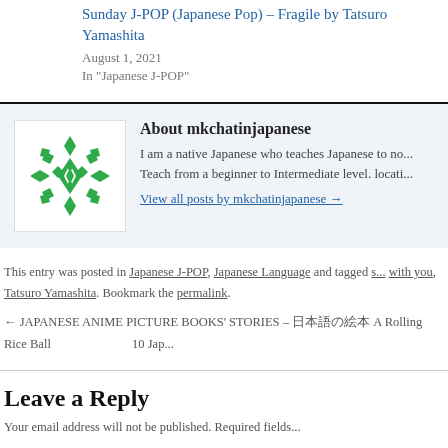Sunday J-POP (Japanese Pop) – Fragile by Tatsuro Yamashita
August 1, 2021
In "Japanese J-POP"
About mkchatinjapanese
I am a native Japanese who teaches Japanese to no... Teach from a beginner to Intermediate level. locati...
View all posts by mkchatinjapanese →
This entry was posted in Japanese J-POP, Japanese Language and tagged 8... with you, Tatsuro Yamashita. Bookmark the permalink.
← JAPANESE ANIME PICTURE BOOKS' STORIES – 日本語の... A Rolling Rice Ball
10 Jap...
Leave a Reply
Your email address will not be published. Required fields...